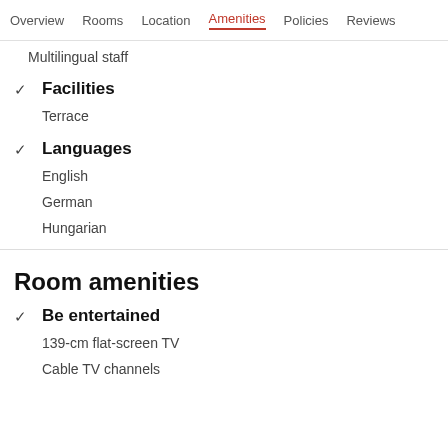Overview  Rooms  Location  Amenities  Policies  Reviews
Multilingual staff
✓ Facilities
Terrace
✓ Languages
English
German
Hungarian
Room amenities
✓ Be entertained
139-cm flat-screen TV
Cable TV channels